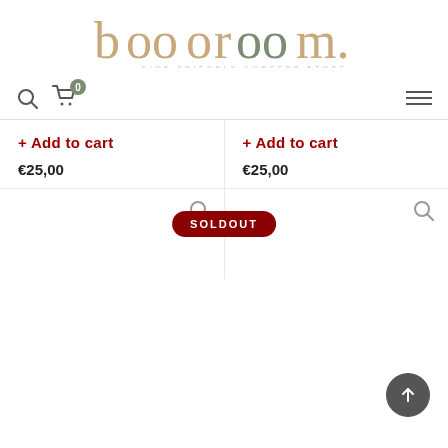[Figure (logo): booooroom kids friendly concept store logo with colorful lettering in tan/gold and olive green tones]
Navigation bar with search icon, cart icon with badge showing 0, and hamburger menu
+ Add to cart
+ Add to cart
€25,00
€25,00
SOLDOUT